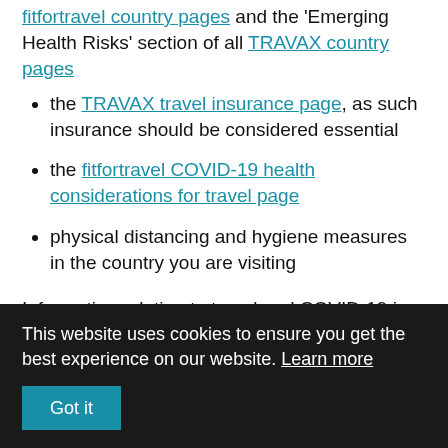fitfortravel country pages and the 'Emerging Health Risks' section of all TRAVAX country pages
the TRAVAX travel insurance page, as such insurance should be considered essential
the fitfortravel COVID-19 health considerations for travel page
physical distancing and hygiene measures in the country you are visiting
Information relating to travel and COVID-19 is available on the TRAVAX (for healthcare practitioners) and fitfortravel (for the public)
This website uses cookies to ensure you get the best experience on our website. Learn more
Got it